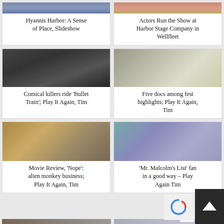[Figure (photo): Partial top of Hyannis Harbor photo (colorful painting/scene)]
[Figure (photo): Partial top of Actors at Harbor Stage Company photo]
Hyannis Harbor: A Sense of Place, Slideshow
Actors Run the Show at Harbor Stage Company in Wellfleet
[Figure (photo): Two men, one large Black man and one with a cigarette, from Bullet Train movie]
[Figure (photo): Group of people at a table, documentary fest highlight]
Comical killers ride 'Bullet Train'; Play It Again, Tim
Five docs among fest highlights; Play It Again, Tim
[Figure (photo): Person on horseback in front of a large building, from movie Nope]
[Figure (photo): Two women in blue period dresses, from Mr. Malcolm's List]
Movie Review, ‘Nope’: alien monkey business; Play It Again, Tim
‘Mr. Malcolm’s List’ fans in a good way – Play It Again Tim
[Figure (photo): Partial bottom image of another article]
[Figure (photo): Partial bottom image of another article]